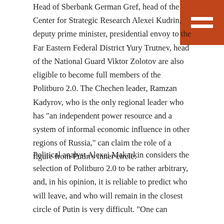Head of Sberbank German Gref, head of the Center for Strategic Research Alexei Kudrin, deputy prime minister, presidential envoy to the Far Eastern Federal District Yury Trutnev, head of the National Guard Viktor Zolotov are also eligible to become full members of the Politburo 2.0. The Chechen leader, Ramzan Kadyrov, who is the only regional leader who has "an independent power resource and a system of informal economic influence in other regions of Russia," can claim the role of a figure from Putin's inner circle.
Political analyst Alexei Makarkin considers the selection of Politburo 2.0 to be rather arbitrary, and, in his opinion, it is reliable to predict who will leave, and who will remain in the closest circle of Putin is very difficult. "One can